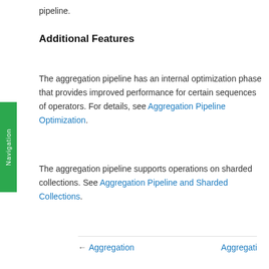pipeline.
Additional Features
The aggregation pipeline has an internal optimization phase that provides improved performance for certain sequences of operators. For details, see Aggregation Pipeline Optimization.
The aggregation pipeline supports operations on sharded collections. See Aggregation Pipeline and Sharded Collections.
← Aggregation   Aggregati